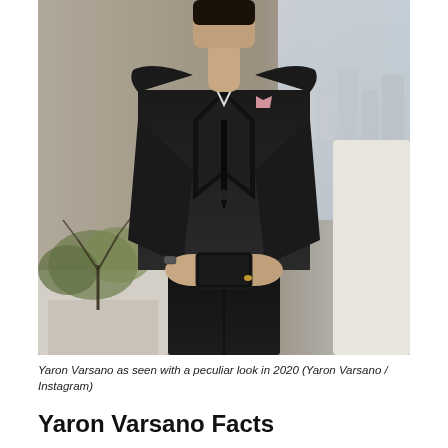[Figure (photo): A man wearing a black tuxedo suit with a pink pocket square, holding a smartphone with both hands. He is standing outdoors on a rooftop or terrace, with potted plants and a city skyline visible in the background.]
Yaron Varsano as seen with a peculiar look in 2020 (Yaron Varsano / Instagram)
Yaron Varsano Facts